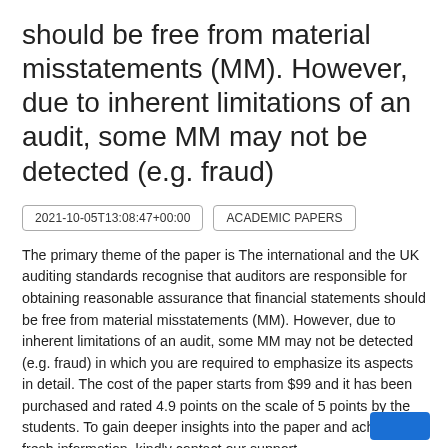should be free from material misstatements (MM). However, due to inherent limitations of an audit, some MM may not be detected (e.g. fraud)
2021-10-05T13:08:47+00:00
ACADEMIC PAPERS
The primary theme of the paper is The international and the UK auditing standards recognise that auditors are responsible for obtaining reasonable assurance that financial statements should be free from material misstatements (MM). However, due to inherent limitations of an audit, some MM may not be detected (e.g. fraud) in which you are required to emphasize its aspects in detail. The cost of the paper starts from $99 and it has been purchased and rated 4.9 points on the scale of 5 points by the students. To gain deeper insights into the paper and achieve fresh information, kindly contact our support.